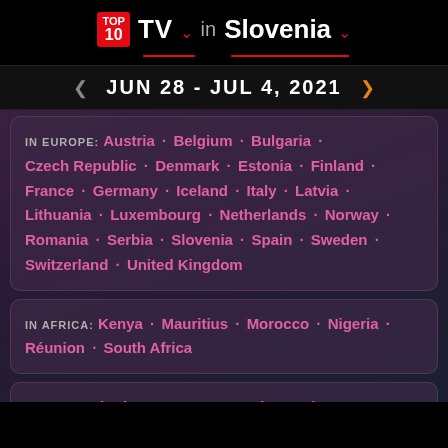TOP 10 TV in Slovenia — JUN 28 - JUL 4, 2021
IN EUROPE: Austria · Belgium · Bulgaria · Czech Republic · Denmark · Estonia · Finland · France · Germany · Iceland · Italy · Latvia · Lithuania · Luxembourg · Netherlands · Norway · Romania · Serbia · Slovenia · Spain · Sweden · Switzerland · United Kingdom
IN AFRICA: Kenya · Mauritius · Morocco · Nigeria · Réunion · South Africa
IN ASIA: Bahrain · Cyprus · Israel · Jordan · Kuwait · Lebanon · Maldives · Philippines · Qatar · United Arab Emirates